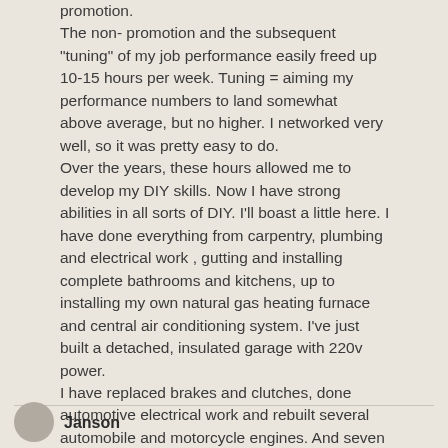promotion.
The non- promotion and the subsequent "tuning" of my job performance easily freed up 10-15 hours per week. Tuning = aiming my performance numbers to land somewhat above average, but no higher. I networked very well, so it was pretty easy to do.
Over the years, these hours allowed me to develop my DIY skills. Now I have strong abilities in all sorts of DIY. I'll boast a little here. I have done everything from carpentry, plumbing and electrical work , gutting and installing complete bathrooms and kitchens, up to installing my own natural gas heating furnace and central air conditioning system. I've just built a detached, insulated garage with 220v power.
I have replaced brakes and clutches, done automotive electrical work and rebuilt several automobile and motorcycle engines. And seven years ago I started playing guitar.
The non-promotion really worked for me!
Reply
Janson